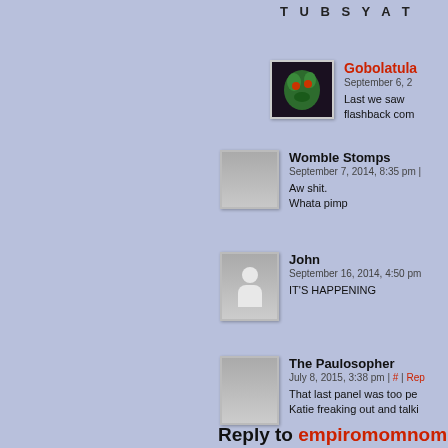T U B S Y A T
Gobolatula
September 6, 2
Last we saw flashback com
Womble Stomps
September 7, 2014, 8:35 pm |
Aw shit.
Whata pimp
John
September 16, 2014, 4:50 pm
IT'S HAPPENING
The Paulosopher
July 8, 2015, 3:38 pm | # | Rep
That last panel was too pe
Katie freaking out and talki
Reply to empiromomnom